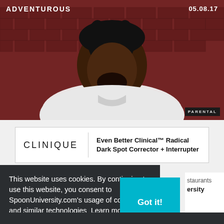[Figure (photo): A man in a white t-shirt against a dark red brick wall background, looking downward. The image has 'ADVENTUROUS' text overlay top-left and '05.08.17' top-right, with a 'PARENTAL' badge bottom-right.]
[Figure (screenshot): Clinique advertisement banner: 'CLINIQUE' logo on left with text 'Even Better Clinical™ Radical Dark Spot Corrector + Interrupter' on right.]
This website uses cookies. By continuing to use this website, you consent to SpoonUniversity.com's usage of cookies and similar technologies Learn more
Got it!
staurants ersity